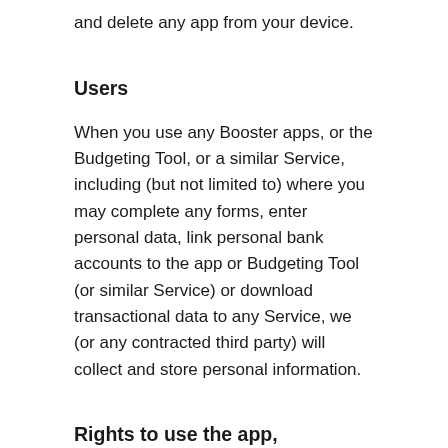and delete any app from your device.
Users
When you use any Booster apps, or the Budgeting Tool, or a similar Service, including (but not limited to) where you may complete any forms, enter personal data, link personal bank accounts to the app or Budgeting Tool (or similar Service) or download transactional data to any Service, we (or any contracted third party) will collect and store personal information.
Rights to use the app, Budgeting Tool or similar Service
You may be invited to use any Booster app, Budgeting Tool or a similar Service if you have an